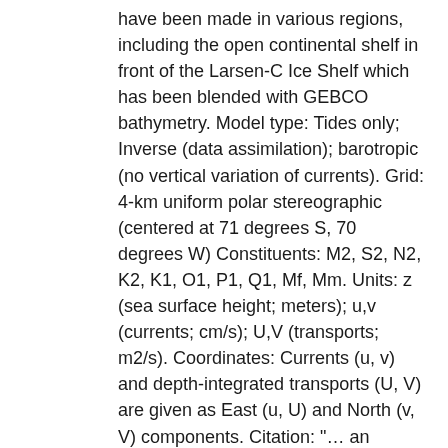have been made in various regions, including the open continental shelf in front of the Larsen-C Ice Shelf which has been blended with GEBCO bathymetry. Model type: Tides only; Inverse (data assimilation); barotropic (no vertical variation of currents). Grid: 4-km uniform polar stereographic (centered at 71 degrees S, 70 degrees W) Constituents: M2, S2, N2, K2, K1, O1, P1, Q1, Mf, Mm. Units: z (sea surface height; meters); u,v (currents; cm/s); U,V (transports; m2/s). Coordinates: Currents (u, v) and depth-integrated transports (U, V) are given as East (u, U) and North (v, V) components. Citation: "… an update to the inverse model described by Padman et al. [2002]." See CATS2008_README.pdf for further details.
Creator(s):